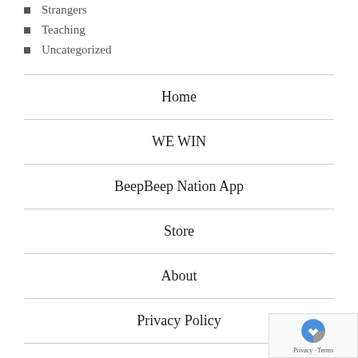Strangers
Teaching
Uncategorized
Home
WE WIN
BeepBeep Nation App
Store
About
Privacy Policy
World Of Kindness